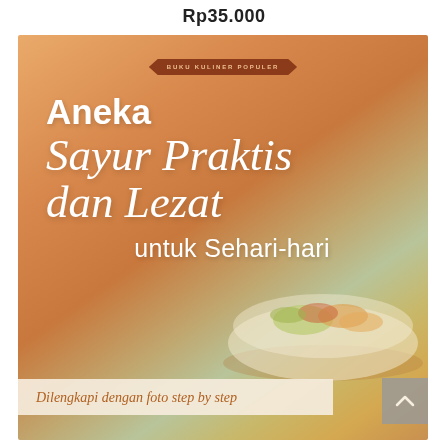Rp35.000
[Figure (illustration): Book cover for 'Aneka Sayur Praktis dan Lezat untuk Sehari-hari'. Orange gradient background with a food bowl image. Title text in white script and sans-serif fonts. Badge reading 'BUKU KULINER POPULER' at top. Bottom strip reads 'Dilengkapi dengan foto step by step'.]